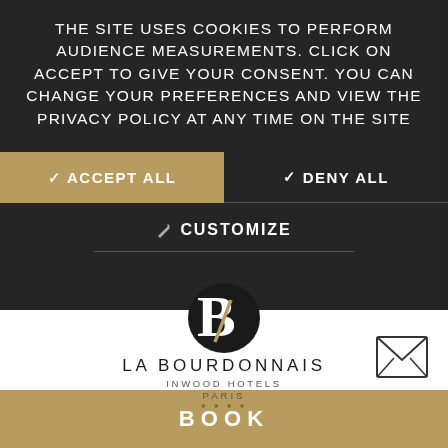THE SITE USES COOKIES TO PERFORM AUDIENCE MEASUREMENTS. CLICK ON ACCEPT TO GIVE YOUR CONSENT. YOU CAN CHANGE YOUR PREFERENCES AND VIEW THE PRIVACY POLICY AT ANY TIME ON THE SITE
✓ ACCEPT ALL
✓ DENY ALL
✎ CUSTOMIZE
[Figure (logo): La Bourdonnais Inwood Hotels Paris four-star hotel logo with stylized letter B]
LA BOURDONNAIS
INWOOD HOTELS
PARIS
★★★★
HOTEL LA BOURDONNAIS
BOOK